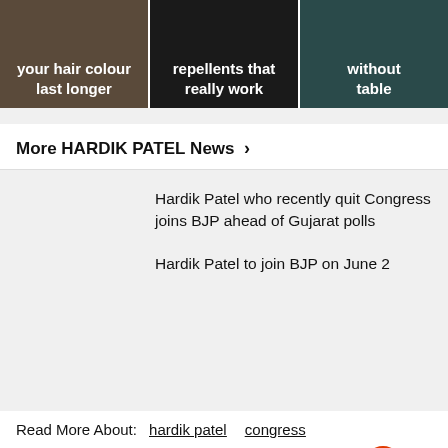[Figure (photo): Three image tiles with text: 'your hair colour last longer', 'repellents that really work', 'without table' (partially visible)]
More HARDIK PATEL News ›
Hardik Patel who recently quit Congress joins BJP ahead of Gujarat polls
Hardik Patel to join BJP on June 2
Read More About: hardik patel  congress
[Figure (infographic): Social share icons row and Aeropostale advertisement banner with '50-70% off Everything!' and 'BUY NOW' button]